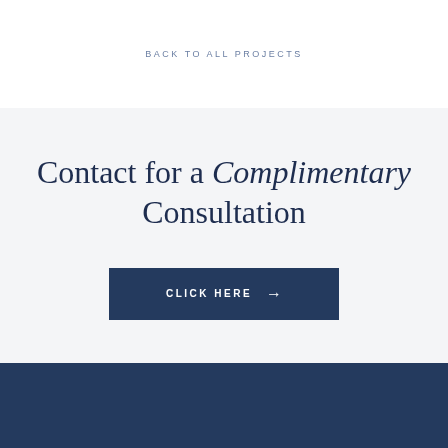BACK TO ALL PROJECTS
Contact for a Complimentary Consultation
CLICK HERE →